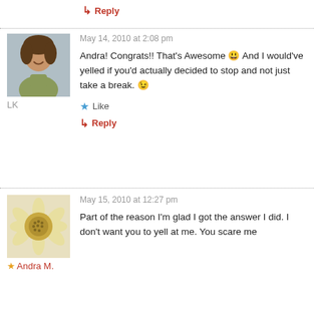↳ Reply
May 14, 2010 at 2:08 pm
Andra! Congrats!! That's Awesome 😃 And I would've yelled if you'd actually decided to stop and not just take a break. 😉
Like
↳ Reply
May 15, 2010 at 12:27 pm
Part of the reason I'm glad I got the answer I did. I don't want you to yell at me. You scare me
★ Andra M.